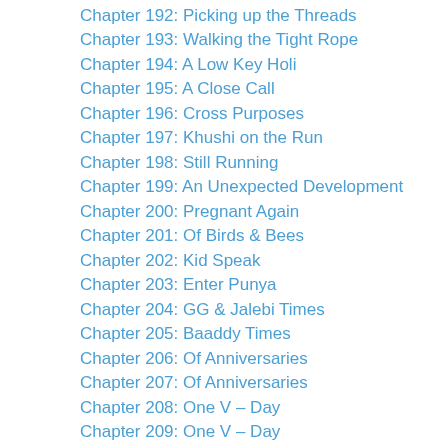Chapter 192: Picking up the Threads
Chapter 193: Walking the Tight Rope
Chapter 194: A Low Key Holi
Chapter 195: A Close Call
Chapter 196: Cross Purposes
Chapter 197: Khushi on the Run
Chapter 198: Still Running
Chapter 199: An Unexpected Development
Chapter 200: Pregnant Again
Chapter 201: Of Birds & Bees
Chapter 202: Kid Speak
Chapter 203: Enter Punya
Chapter 204: GG & Jalebi Times
Chapter 205: Baaddy Times
Chapter 206: Of Anniversaries
Chapter 207: Of Anniversaries
Chapter 208: One V – Day
Chapter 209: One V – Day
Chapter 210: RV Times
Chapter 211: Arshi Times